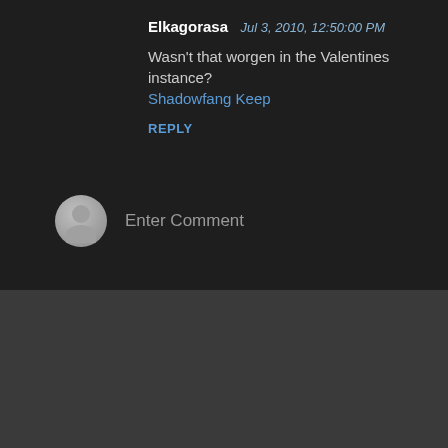Elkagorasa  Jul 3, 2010, 12:50:00 PM
Wasn't that worgen in the Valentines instance?
Shadowfang Keep
REPLY
Enter Comment
Popular posts from this blog
A (much belated) Liebster Award Post
- May 01, 2015 -
[Figure (illustration): Thumbnail image for blog post showing a green badge/seal icon]
I've been nominated for a Liebster Award by